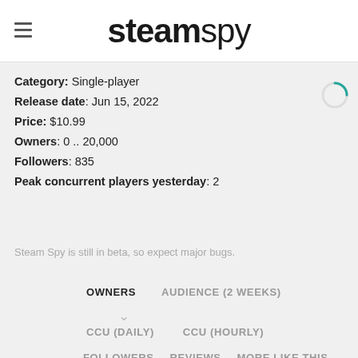steamspy
Category: Single-player
Release date: Jun 15, 2022
Price: $10.99
Owners: 0 .. 20,000
Followers: 835
Peak concurrent players yesterday: 2
Steam Spy is still in beta, so expect major bugs.
OWNERS | AUDIENCE (2 WEEKS) | CCU (DAILY) | CCU (HOURLY) | FOLLOWERS | REVIEWS | MORE LIKE THIS | RELATED | TAGS OVER TIME | PLAYTIME (TOTAL) | PLAYTIME (2 WEEKS)